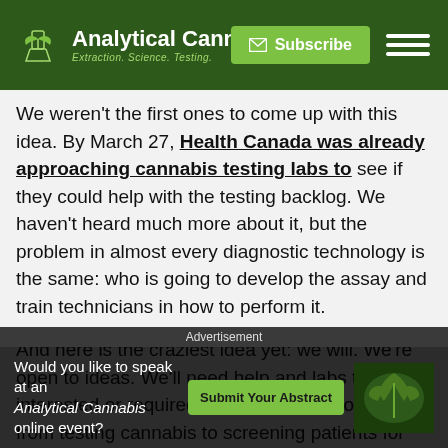Analytical Cannabis — Extraction. Science. Testing.
We weren't the first ones to come up with this idea. By March 27, Health Canada was already approaching cannabis testing labs to see if they could help with the testing backlog. We haven't heard much more about it, but the problem in almost every diagnostic technology is the same: who is going to develop the assay and train technicians in how to perform it.
And here is the craziest idea yet: we will. We're open to ideas. We'll need help and labs that are interested or required to divert their resources from testing cannabis to screening patients for SARS-CoV-2 can reach out to us. We'll do everything we can. We're also feverishly writing grants to find funding to pull in more resources in case this gets worse and we have to divert resources from many labs to
Here is the summary: during the progression of Covid-19
[Figure (other): Advertisement overlay: Would you like to speak at an Analytical Cannabis online event? Submit Your Abstract button with cannabis leaf image background]